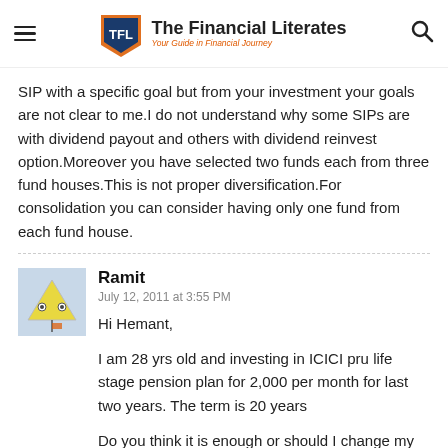The Financial Literates — Your Guide in Financial Journey
SIP with a specific goal but from your investment your goals are not clear to me.I do not understand why some SIPs are with dividend payout and others with dividend reinvest option.Moreover you have selected two funds each from three fund houses.This is not proper diversification.For consolidation you can consider having only one fund from each fund house.
Ramit
July 12, 2011 at 3:55 PM
Hi Hemant,

I am 28 yrs old and investing in ICICI pru life stage pension plan for 2,000 per month for last two years. The term is 20 years

Do you think it is enough or should I change my